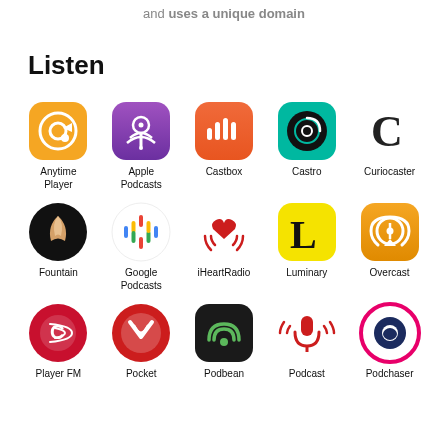and uses a unique domain
Listen
[Figure (infographic): Grid of podcast app icons: Anytime Player, Apple Podcasts, Castbox, Castro, Curiocaster, Fountain, Google Podcasts, iHeartRadio, Luminary, Overcast, Player FM, Pocket, Podbean, Podcast, Podchaser]